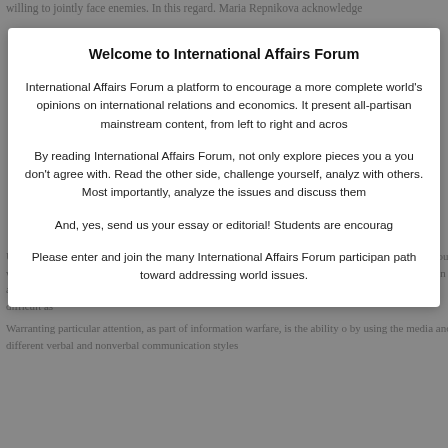willing to jointly face enemies. In this regard. Maria Repnikova acknowledge
Welcome to International Affairs Forum
International Affairs Forum a platform to encourage a more complete world's opinions on international relations and economics. It present all-partisan mainstream content, from left to right and acros
By reading International Affairs Forum, not only explore pieces you a you don't agree with. Read the other side, challenge yourself, analyz with others. Most importantly, analyze the issues and discuss them
And, yes, send us your essay or editorial! Students are encourag
Please enter and join the many International Affairs Forum participan path toward addressing world issues.
Ukraine is proof of the importance of information regarding civilians and troo spheres. To the various warring parties, it becomes relevant to influence piec despite attempts at media control, the Kremlin allows Telegram to keep runn this war at the top of the news media agendas, this could be more difficult as
Warranting particular attention, as part of information warfare, is the ability o by using the media and different verbal and nonverbal communication styles